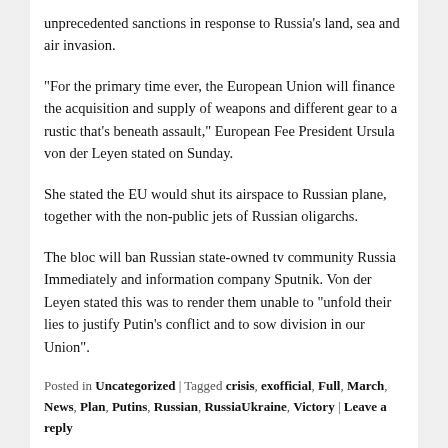unprecedented sanctions in response to Russia's land, sea and air invasion.
“For the primary time ever, the European Union will finance the acquisition and supply of weapons and different gear to a rustic that’s beneath assault,” European Fee President Ursula von der Leyen stated on Sunday.
She stated the EU would shut its airspace to Russian plane, together with the non-public jets of Russian oligarchs.
The bloc will ban Russian state-owned tv community Russia Immediately and information company Sputnik. Von der Leyen stated this was to render them unable to “unfold their lies to justify Putin’s conflict and to sow division in our Union”.
Posted in Uncategorized | Tagged crisis, exofficial, Full, March, News, Plan, Putins, Russian, RussiaUkraine, Victory | Leave a reply